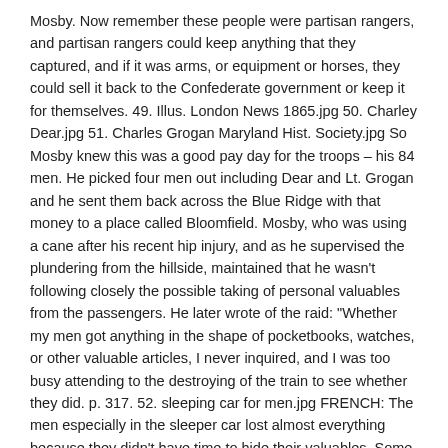Mosby. Now remember these people were partisan rangers, and partisan rangers could keep anything that they captured, and if it was arms, or equipment or horses, they could sell it back to the Confederate government or keep it for themselves. 49. Illus. London News 1865.jpg 50. Charley Dear.jpg 51. Charles Grogan Maryland Hist. Society.jpg So Mosby knew this was a good pay day for the troops – his 84 men. He picked four men out including Dear and Lt. Grogan and he sent them back across the Blue Ridge with that money to a place called Bloomfield. Mosby, who was using a cane after his recent hip injury, and as he supervised the plundering from the hillside, maintained that he wasn't following closely the possible taking of personal valuables from the passengers. He later wrote of the raid: "Whether my men got anything in the shape of pocketbooks, watches, or other valuable articles, I never inquired, and I was too busy attending to the destroying of the train to see whether they did. p. 317. 52. sleeping car for men.jpg FRENCH: The men especially in the sleeper car lost almost everything because they didn't have time to hide their valuables. Some of the men, who were in the cars, were taken out into the woods. First they thought, that they were going to be – maybe – even shot. 53. men strip Scott, p. 402.jpg But the rangers took them out there, made them strip completely, and then they took what they wanted from them. Sometimes they took their pants and so on. 54. Montage